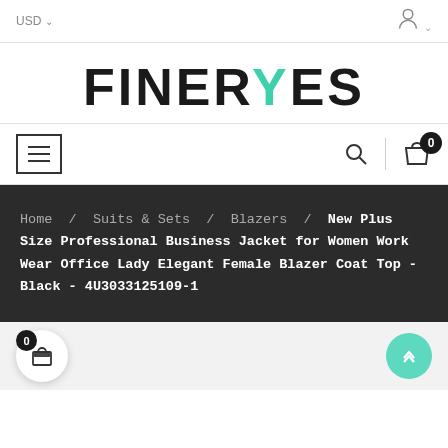USD ▾  [user icon]
[Figure (logo): FINERYES logo in bold black letters with the Y in teal/green color]
[Figure (screenshot): Navigation bar with hamburger menu icon on left, search icon and cart icon (with badge 0) on right]
Home / Suits & Sets / Blazers / New Plus Size Professional Business Jacket for Women Work Wear Office Lady Elegant Female Blazer Coat Top - Black - 4U3033125109-1
[Figure (screenshot): Bottom floating cart button showing 0 items, and teal scroll-to-top button on bottom right]